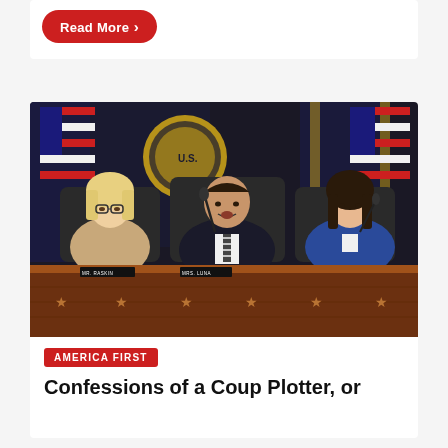Read More >
[Figure (photo): Congressional hearing with three members seated at a hearing desk in front of American flags and a U.S. seal. A man in a dark suit with a striped tie speaks at a microphone, flanked by a woman with blonde hair in a tan jacket on his left and a woman in a blue jacket on his right. Nameplates reading MR. RASKIN and MRS. LUNA are visible on the desk, which has bronze star decorations.]
AMERICA FIRST
Confessions of a Coup Plotter, or